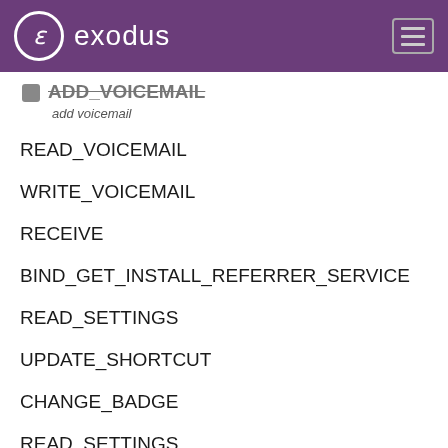exodus
ADD_VOICEMAIL
add voicemail
READ_VOICEMAIL
WRITE_VOICEMAIL
RECEIVE
BIND_GET_INSTALL_REFERRER_SERVICE
READ_SETTINGS
UPDATE_SHORTCUT
CHANGE_BADGE
READ_SETTINGS
! WRITE_SETTINGS